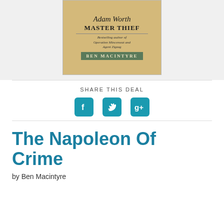[Figure (illustration): Book cover for 'The Napoleon of Crime' by Ben Macintyre. Shows script 'Adam Worth', 'MASTER THIEF', 'Bestselling author of Operation Mincemeat and Agent Zigzag', and 'BEN MACINTYRE' on a tan/gold background.]
SHARE THIS DEAL
[Figure (infographic): Three social media icons: Facebook (f), Twitter (bird), and Google+ (g+), rendered as teal/cyan rounded square buttons.]
The Napoleon Of Crime
by Ben Macintyre